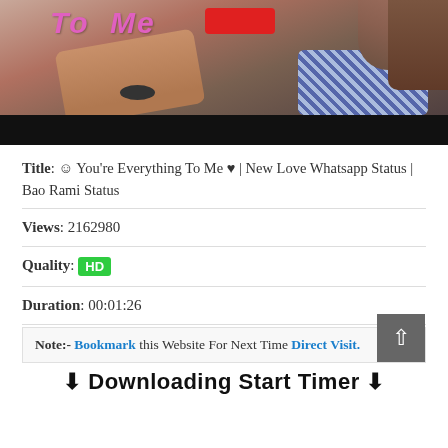[Figure (photo): Thumbnail image showing two people, one with a bracelet and a checkered shirt, with text 'To Me' in pink italic and a red button overlay. Black bar at the bottom.]
Title: ☺ You're Everything To Me ♥ | New Love Whatsapp Status | Bao Rami Status
Views: 2162980
Quality: HD
Duration: 00:01:26
Note:- Bookmark this Website For Next Time Direct Visit.
⬇ Downloading Start Timer ⬇